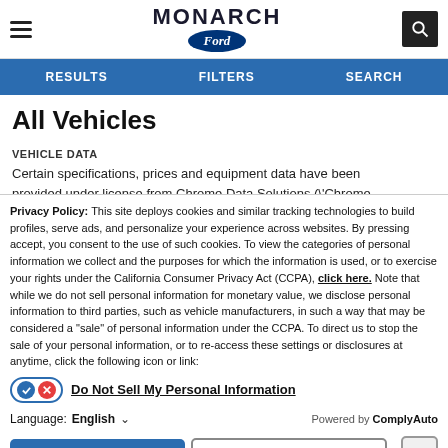Monarch Ford — RESULTS  FILTERS  SEARCH
All Vehicles
VEHICLE DATA
Certain specifications, prices and equipment data have been provided under license from Chrome Data Solutions (\'Chrome
Privacy Policy: This site deploys cookies and similar tracking technologies to build profiles, serve ads, and personalize your experience across websites. By pressing accept, you consent to the use of such cookies. To view the categories of personal information we collect and the purposes for which the information is used, or to exercise your rights under the California Consumer Privacy Act (CCPA), click here. Note that while we do not sell personal information for monetary value, we disclose personal information to third parties, such as vehicle manufacturers, in such a way that may be considered a "sale" of personal information under the CCPA. To direct us to stop the sale of your personal information, or to re-access these settings or disclosures at anytime, click the following icon or link:
Do Not Sell My Personal Information
Language: English  ▾  Powered by ComplyAuto
Accept and Continue →  California Privacy Disclosures  ×